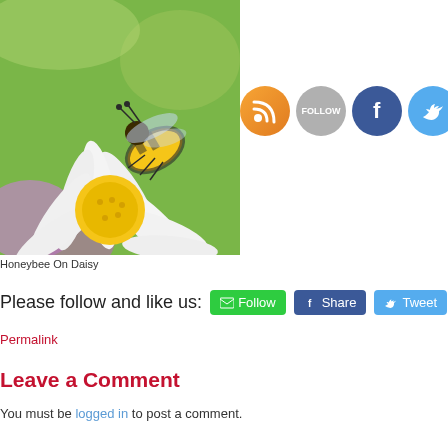[Figure (photo): Close-up photograph of a honeybee on a white daisy flower with yellow center, purple flowers in background, green foliage]
[Figure (infographic): Four social media icon circles: orange RSS feed icon, gray FOLLOW button, blue Facebook 'f' icon, light blue Twitter bird icon]
Honeybee On Daisy
Please follow and like us: [Follow] [Share] [Tweet] [Pinterest]
Permalink
Leave a Comment
You must be logged in to post a comment.